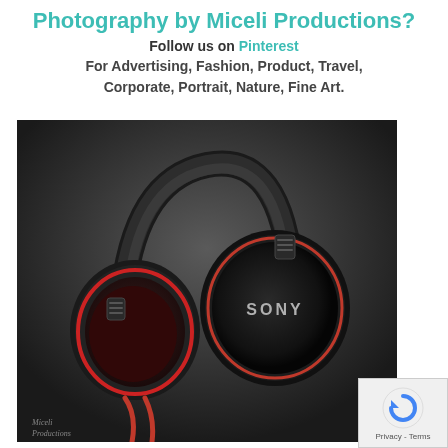Photography by Miceli Productions?
Follow us on Pinterest
For Advertising, Fashion, Product, Travel, Corporate, Portrait, Nature, Fine Art.
[Figure (photo): Product photo of Sony over-ear headphones, black with red accents and red cable, on dark background. Miceli Productions watermark at bottom left.]
[Figure (other): reCAPTCHA widget showing a circular arrow icon and Privacy - Terms text]